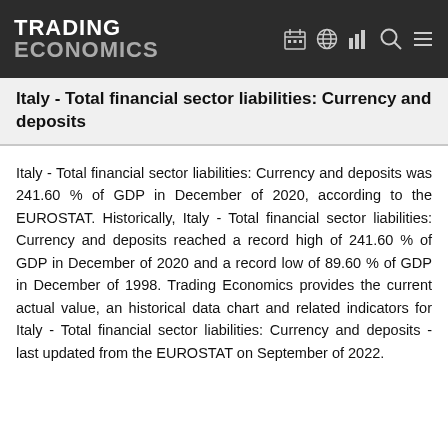TRADING ECONOMICS
Italy - Total financial sector liabilities: Currency and deposits
Italy - Total financial sector liabilities: Currency and deposits was 241.60 % of GDP in December of 2020, according to the EUROSTAT. Historically, Italy - Total financial sector liabilities: Currency and deposits reached a record high of 241.60 % of GDP in December of 2020 and a record low of 89.60 % of GDP in December of 1998. Trading Economics provides the current actual value, an historical data chart and related indicators for Italy - Total financial sector liabilities: Currency and deposits - last updated from the EUROSTAT on September of 2022.